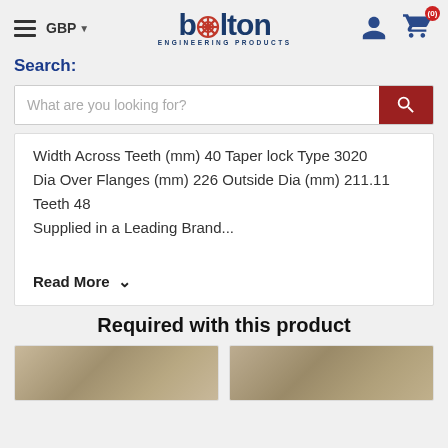[Figure (screenshot): Bolton Engineering Products website header with hamburger menu, GBP currency selector, Bolton logo, user account icon, and shopping cart icon with (0) badge]
Search:
What are you looking for?
Width Across Teeth (mm) 40 Taper lock Type 3020
Dia Over Flanges (mm) 226 Outside Dia (mm) 211.11 Teeth 48
Supplied in a Leading Brand...
Read More ∨
Required with this product
[Figure (photo): Two product thumbnail images of engineering sprocket components]